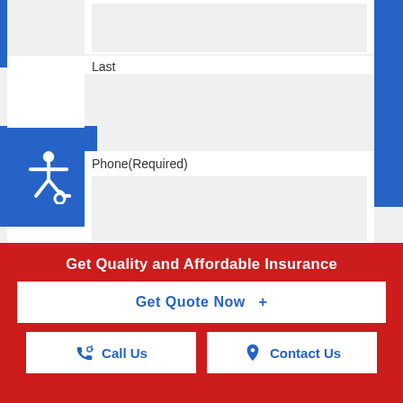Last
Phone(Required)
Email(Required)
How can we help you?
Get Quality and Affordable Insurance
Get Quote Now  +
Call Us
Contact Us